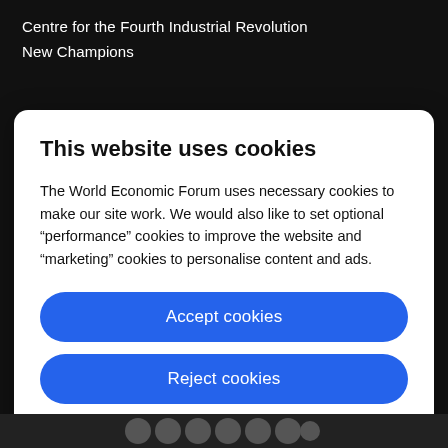Centre for the Fourth Industrial Revolution
New Champions
This website uses cookies
The World Economic Forum uses necessary cookies to make our site work. We would also like to set optional “performance” cookies to improve the website and “marketing” cookies to personalise content and ads.
Accept cookies
Reject cookies
Cookie settings
[social media icons]